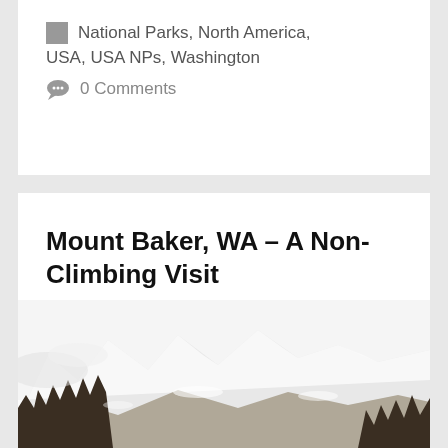National Parks, North America, USA, USA NPs, Washington
0 Comments
Mount Baker, WA – A Non-Climbing Visit
July 24, 2013 by Indi Nomads
[Figure (photo): Mountain landscape with snow-capped peaks and evergreen trees in the foreground, partially visible at the bottom of the page.]